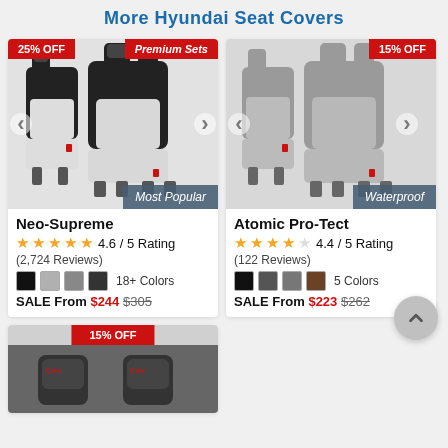More Hyundai Seat Covers
[Figure (photo): Neo-Supreme seat covers in black and gray, shown on two front seats. Badge: 25% OFF, Premium Sets, Most Popular.]
Neo-Supreme
4.6 / 5 Rating (2,724 Reviews)
18+ Colors
SALE From $244 $305
[Figure (photo): Atomic Pro-Tect seat covers in gray, shown on two front seats. Badge: 15% OFF, Waterproof.]
Atomic Pro-Tect
4.4 / 5 Rating (122 Reviews)
5 Colors
SALE From $223 $262
[Figure (photo): Third seat cover product card, partially shown. Badge: 15% OFF. Dark colored seat covers visible.]